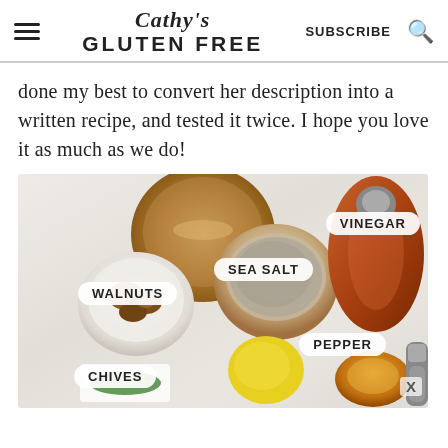Cathy's GLUTEN FREE | SUBSCRIBE
done my best to convert her description into a written recipe, and tested it twice. I hope you love it as much as we do!
[Figure (photo): Overhead flat-lay photo of recipe ingredients on a white surface: walnuts in a white bowl, sea salt in a wooden mortar, a bottle of vinegar, chives, a lemon, honey, and a pepper grinder. Labels overlay the image: WALNUTS, SEA SALT, VINEGAR, CHIVES, PEPPER.]